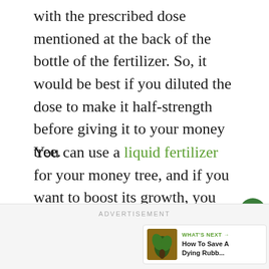with the prescribed dose mentioned at the back of the bottle of the fertilizer. So, it would be best if you diluted the dose to make it half-strength before giving it to your money tree.
You can use a liquid fertilizer for your money tree, and if you want to boost its growth, you can use a fertilizer with more nitrogen.
ADVERTISEMENT
[Figure (other): What's Next panel showing a thumbnail image of a rubber plant and text: WHAT'S NEXT → How To Save A Dying Rubb...]